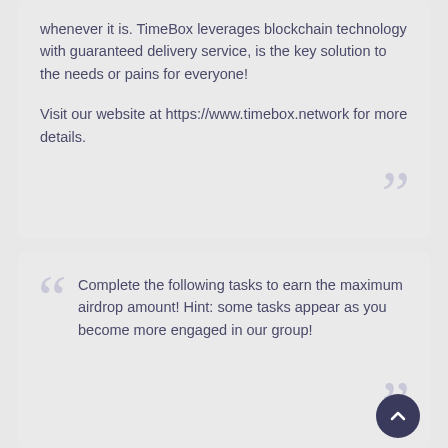whenever it is. TimeBox leverages blockchain technology with guaranteed delivery service, is the key solution to the needs or pains for everyone!
Visit our website at https://www.timebox.network for more details.
Complete the following tasks to earn the maximum airdrop amount! Hint: some tasks appear as you become more engaged in our group!